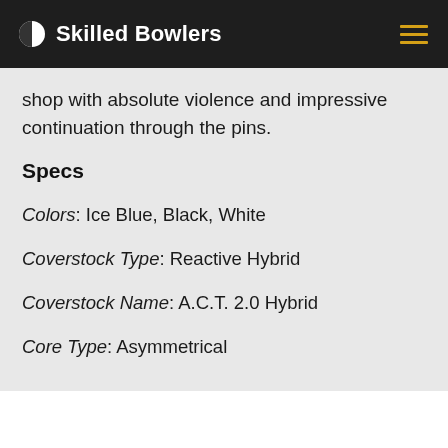Skilled Bowlers
shop with absolute violence and impressive continuation through the pins.
Specs
Colors: Ice Blue, Black, White
Coverstock Type: Reactive Hybrid
Coverstock Name: A.C.T. 2.0 Hybrid
Core Type: Asymmetrical